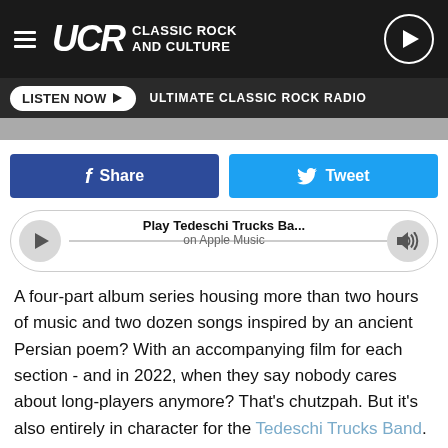UCR CLASSIC ROCK AND CULTURE
LISTEN NOW ▶  ULTIMATE CLASSIC ROCK RADIO
[Figure (screenshot): Social share buttons: Facebook Share (dark blue) and Twitter Tweet (light blue)]
[Figure (screenshot): Apple Music player bar: Play Tedeschi Trucks Ba... on Apple Music]
A four-part album series housing more than two hours of music and two dozen songs inspired by an ancient Persian poem? With an accompanying film for each section - and in 2022, when they say nobody cares about long-players anymore? That's chutzpah. But it's also entirely in character for the Tedeschi Trucks Band.
Susan Tedeschi and Derek Trucks demonstrated their chutzpah back in 2019 when they formed the 12-member